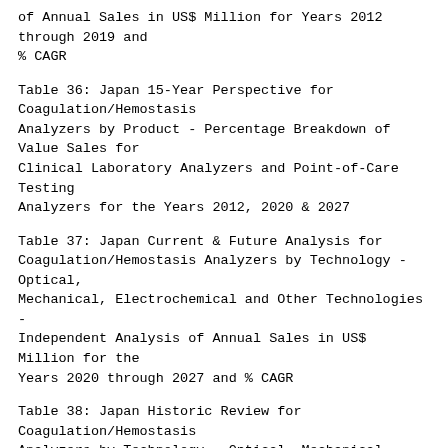of Annual Sales in US$ Million for Years 2012 through 2019 and % CAGR
Table 36: Japan 15-Year Perspective for Coagulation/Hemostasis Analyzers by Product - Percentage Breakdown of Value Sales for Clinical Laboratory Analyzers and Point-of-Care Testing Analyzers for the Years 2012, 2020 & 2027
Table 37: Japan Current & Future Analysis for Coagulation/Hemostasis Analyzers by Technology - Optical, Mechanical, Electrochemical and Other Technologies - Independent Analysis of Annual Sales in US$ Million for the Years 2020 through 2027 and % CAGR
Table 38: Japan Historic Review for Coagulation/Hemostasis Analyzers by Technology - Optical, Mechanical, Electrochemical and Other Technologies Markets - Independent Analysis of Annual Sales in US$ Million for Years 2012 through 2019 and % CAGR
Table 39: Japan 15-Year Perspective for Coagulation/Hemostasis Analyzers by Technology - Percentage Breakdown of Value Sales